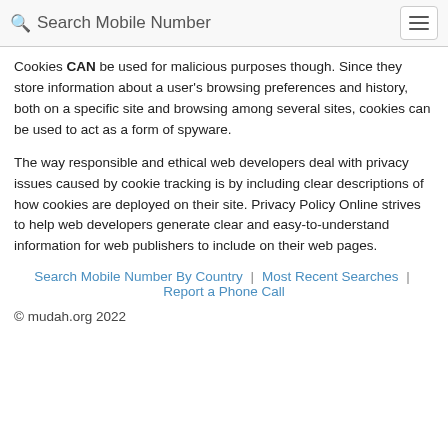Search Mobile Number
Cookies CAN be used for malicious purposes though. Since they store information about a user's browsing preferences and history, both on a specific site and browsing among several sites, cookies can be used to act as a form of spyware.
The way responsible and ethical web developers deal with privacy issues caused by cookie tracking is by including clear descriptions of how cookies are deployed on their site. Privacy Policy Online strives to help web developers generate clear and easy-to-understand information for web publishers to include on their web pages.
Search Mobile Number By Country | Most Recent Searches | Report a Phone Call
© mudah.org 2022